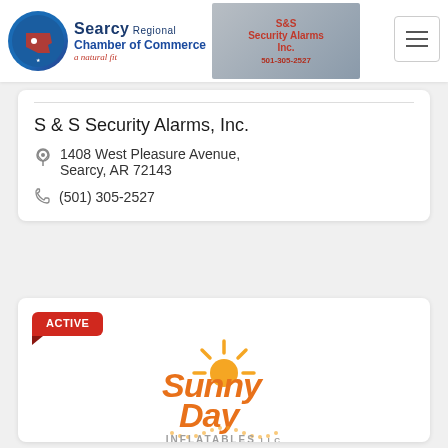[Figure (logo): Searcy Regional Chamber of Commerce logo with Arkansas state silhouette in blue circle]
[Figure (photo): S&S Security Alarms Inc. sign photo with phone number 501-305-2527]
S & S Security Alarms, Inc.
1408 West Pleasure Avenue, Searcy, AR 72143
(501) 305-2527
ACTIVE
[Figure (logo): Sunny Day Inflatables LLC logo with orange sun rays and stylized text]